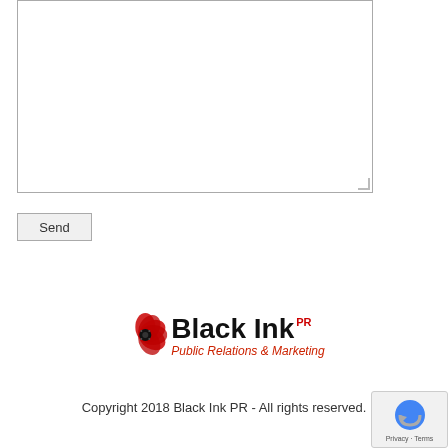[Figure (screenshot): Empty textarea input box with resize handle at bottom-right corner]
Send
[Figure (logo): Black Ink PR logo with red poppy flower, bold text 'Black Ink' with red 'PR' superscript and italic tagline 'Public Relations & Marketing']
Copyright 2018 Black Ink PR - All rights reserved.